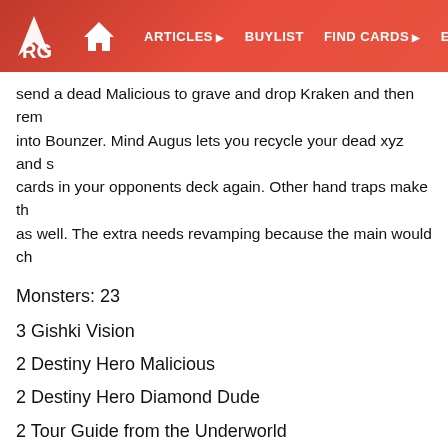ARG | ARTICLES | BUYLIST | FIND CARDS | EVEN...
send a dead Malicious to grave and drop Kraken and then rem... into Bounzer. Mind Augus lets you recycle your dead xyz and s... cards in your opponents deck again. Other hand traps make th... as well. The extra needs revamping because the main would ch...
Monsters: 23
3 Gishki Vision
2 Destiny Hero Malicious
2 Destiny Hero Diamond Dude
2 Tour Guide from the Underworld
2 Trageodia
2 Maxx "C"
1 Gorz the Emissary of Darkness